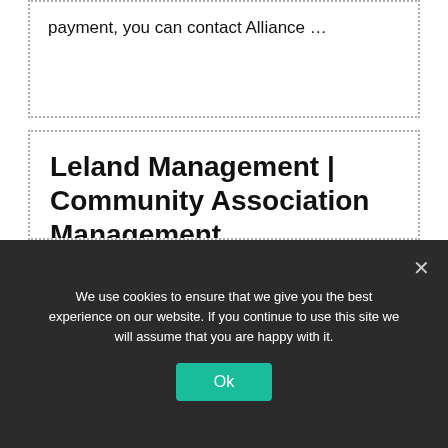payment, you can contact Alliance ...
Leland Management | Community Association Management
https://lelandmgt.com/
Leland Management has proudly served condominiums and HOAs in Florida since
We use cookies to ensure that we give you the best experience on our website. If you continue to use this site we will assume that you are happy with it.